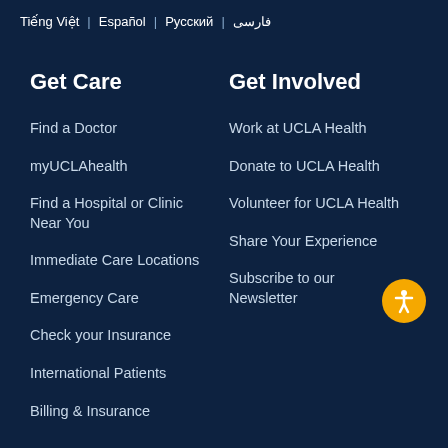فارسی | Русский | Español | Tiếng Việt
Get Care
Find a Doctor
myUCLAhealth
Find a Hospital or Clinic Near You
Immediate Care Locations
Emergency Care
Check your Insurance
International Patients
Billing & Insurance
Get Involved
Work at UCLA Health
Donate to UCLA Health
Volunteer for UCLA Health
Share Your Experience
Subscribe to our Newsletter